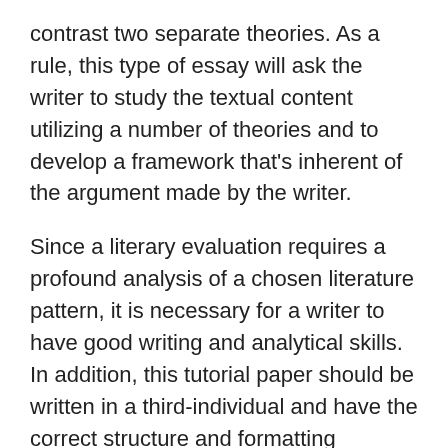contrast two separate theories. As a rule, this type of essay will ask the writer to study the textual content utilizing a number of theories and to develop a framework that's inherent of the argument made by the writer.
Since a literary evaluation requires a profound analysis of a chosen literature pattern, it is necessary for a writer to have good writing and analytical skills. In addition, this tutorial paper should be written in a third-individual and have the correct structure and formatting fashion. Consequently, every writer must examine the directions and pointers on find out how to put together a literary evaluation essay upfront. Remember that this piece of writing requires all the analytical essay elements together with an overview, introduction, informative important paragraphs, and conclusions.